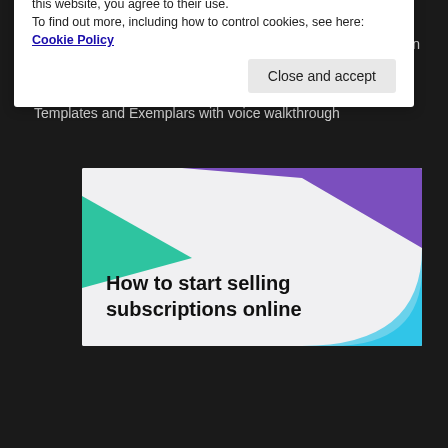File Format: HD, 25 Files, Approx 3.80 GB
Course eBook: 122 Page Interactive PDF, plus Hi-Res Version
Special Features: Making of Wild Horses Design Study (43 Page PDF), Mural Design Ideas PDF, Designer Type Sample, Templates and Exemplars with voice walkthrough
[Figure (illustration): Decorative image with purple triangle top-right, green triangle left, blue arc bottom-right on light background, with bold text 'How to start selling subscriptions online']
Privacy & Cookies: This site uses cookies. By continuing to use this website, you agree to their use.
To find out more, including how to control cookies, see here: Cookie Policy
Close and accept